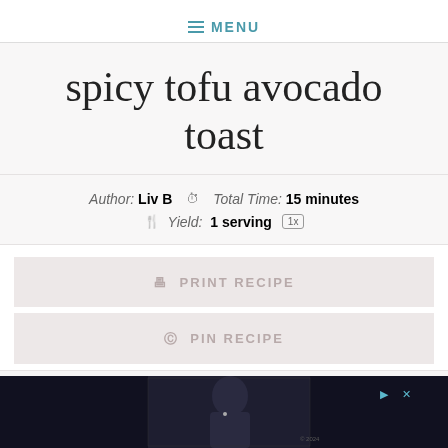≡ MENU
spicy tofu avocado toast
Author: Liv B   ⏱ Total Time: 15 minutes   🍴 Yield: 1 serving 1x
PRINT RECIPE
PIN RECIPE
DES...